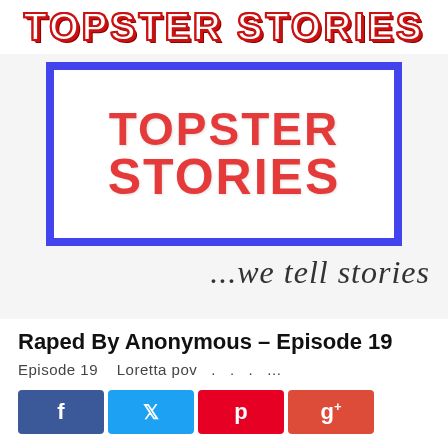TOPSTER STORIES
[Figure (logo): Topster Stories logo: red bold text 'TOPSTER STORIES' inside a thick blue border rectangle, tagline '...we tell stories' in cursive below]
Raped By Anonymous – Episode 19
Episode 19    Loretta pov   .   .   .   ...
[Figure (infographic): Social share buttons: Facebook (f), Twitter (bird), Pinterest (p), Google+ (g+)]